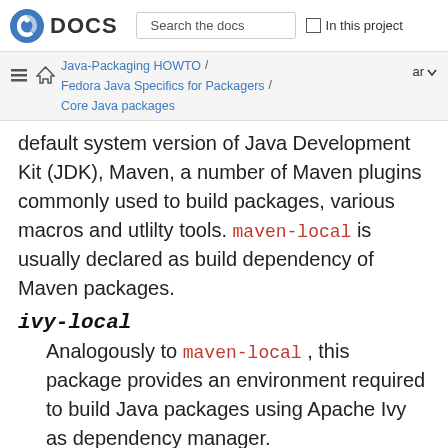DOCS  Search the docs  In this project
Java-Packaging HOWTO / Fedora Java Specifics for Packagers / Core Java packages  ar
default system version of Java Development Kit (JDK), Maven, a number of Maven plugins commonly used to build packages, various macros and utlilty tools. maven-local is usually declared as build dependency of Maven packages.
ivy-local
Analogously to maven-local, this package provides an environment required to build Java packages using Apache Ivy as dependency manager.
javapackages-local